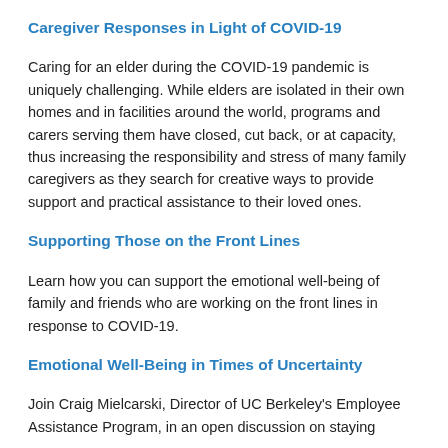Caregiver Responses in Light of COVID-19
Caring for an elder during the COVID-19 pandemic is uniquely challenging. While elders are isolated in their own homes and in facilities around the world, programs and carers serving them have closed, cut back, or at capacity, thus increasing the responsibility and stress of many family caregivers as they search for creative ways to provide support and practical assistance to their loved ones.
Supporting Those on the Front Lines
Learn how you can support the emotional well-being of family and friends who are working on the front lines in response to COVID-19.
Emotional Well-Being in Times of Uncertainty
Join Craig Mielcarski, Director of UC Berkeley's Employee Assistance Program, in an open discussion on staying